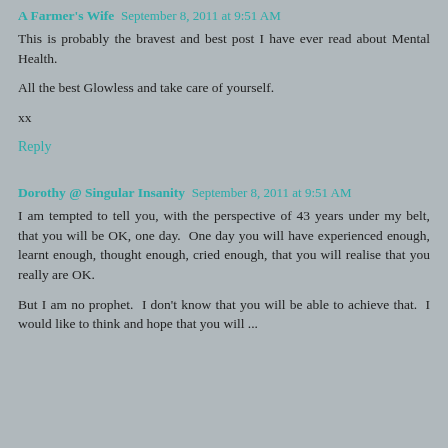A Farmer's Wife  September 8, 2011 at 9:51 AM
This is probably the bravest and best post I have ever read about Mental Health.

All the best Glowless and take care of yourself.

xx
Reply
Dorothy @ Singular Insanity  September 8, 2011 at 9:51 AM
I am tempted to tell you, with the perspective of 43 years under my belt, that you will be OK, one day.  One day you will have experienced enough, learnt enough, thought enough, cried enough, that you will realise that you really are OK.

But I am no prophet.  I don't know that you will be able to achieve that.  I would like to think and hope that you will ...